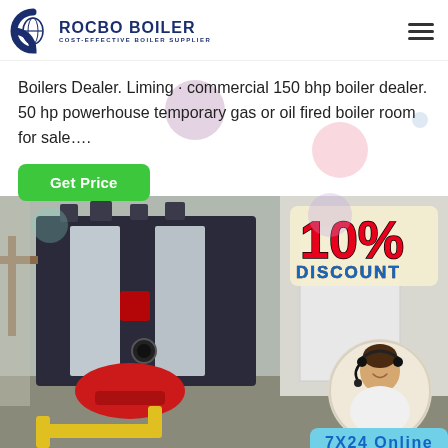ROCBO BOILER COST-EFFECTIVE BOILER SUPPLIER
Boilers Dealer. Liming · commercial 150 bhp boiler dealer. 50 hp powerhouse temporary gas or oil fired boiler room for sale....
Get Price
[Figure (photo): Industrial gas or oil fired boiler unit in a facility, with a red burner at the front and yellow pipe at the base. Overlay shows 10% DISCOUNT badge and a customer service representative with headset. Bottom right shows '7X24 Online' badge.]